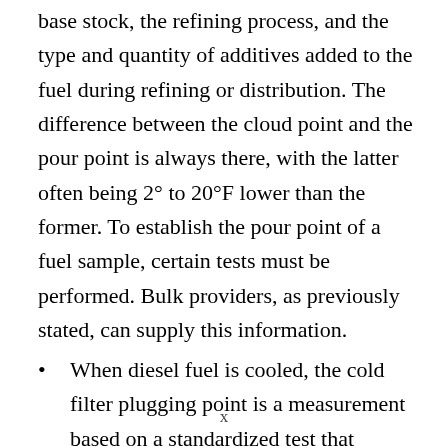base stock, the refining process, and the type and quantity of additives added to the fuel during refining or distribution. The difference between the cloud point and the pour point is always there, with the latter often being 2° to 20°F lower than the former. To establish the pour point of a fuel sample, certain tests must be performed. Bulk providers, as previously stated, can supply this information.
When diesel fuel is cooled, the cold filter plugging point is a measurement based on a standardized test that indicates the rate at which it will flow through a standardized
x